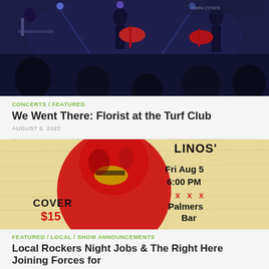[Figure (photo): Concert photo showing band on stage with guitarists and silhouetted audience in foreground, blue-toned lighting]
CONCERTS / FEATURED
We Went There: Florist at the Turf Club
AUGUST 6, 2022
[Figure (photo): Event flyer with red-tinted figure with gold teeth laughing, text: LINOS, Fri Aug 5, 6:00 PM, xxx, Palmers Bar, COVER $15]
FEATURED / LOCAL / SHOW ANNOUNCEMENTS
Local Rockers Night Jobs & The Right Here Joining Forces for